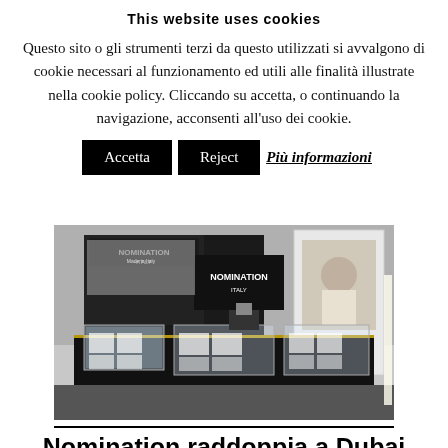This website uses cookies
Questo sito o gli strumenti terzi da questo utilizzati si avvalgono di cookie necessari al funzionamento ed utili alle finalità illustrate nella cookie policy. Cliccando su accetta, o continuando la navigazione, acconsenti all'uso dei cookie.
Accetta | Reject | Più informazioni
[Figure (photo): Interior of a Nomination Italy jewelry store or trade show booth with illuminated display cases and branded signage]
Nomination raddoppia a Dubai